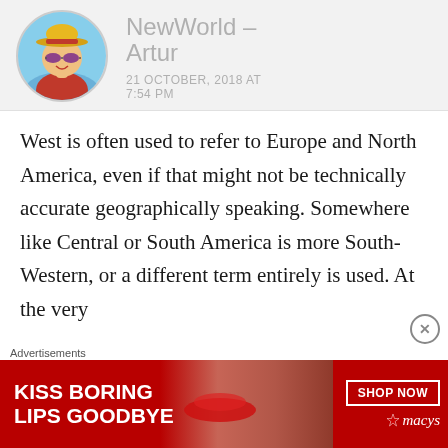[Figure (illustration): Anime character avatar (Monkey D. Luffy from One Piece with straw hat and purple sunglasses) in a circular frame]
NewWorld - Artur
21 OCTOBER, 2018 AT 7:54 PM
West is often used to refer to Europe and North America, even if that might not be technically accurate geographically speaking. Somewhere like Central or South America is more South-Western, or a different term entirely is used. At the very
Advertisements
[Figure (photo): Advertisement banner: red background with white bold text 'KISS BORING LIPS GOODBYE', woman's face with red lips, 'SHOP NOW' button and Macy's star logo]